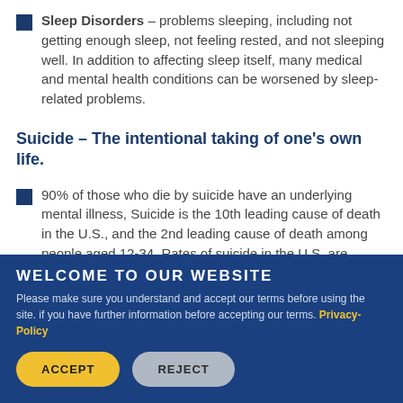Sleep Disorders – problems sleeping, including not getting enough sleep, not feeling rested, and not sleeping well. In addition to affecting sleep itself, many medical and mental health conditions can be worsened by sleep-related problems.
Suicide – The intentional taking of one's own life.
90% of those who die by suicide have an underlying mental illness, Suicide is the 10th leading cause of death in the U.S., and the 2nd leading cause of death among people aged 12-34. Rates of suicide in the U.S. are increasing.
WELCOME TO OUR WEBSITE
Please make sure you understand and accept our terms before using the site. if you have further information before accepting our terms. Privacy-Policy